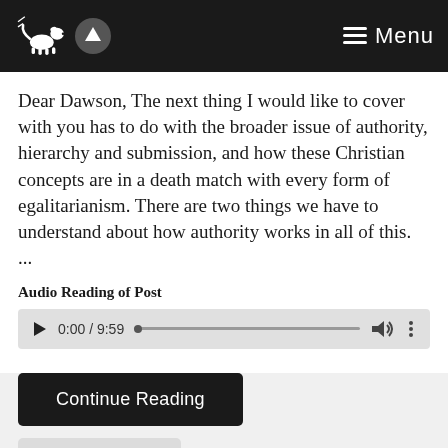Menu
Dear Dawson, The next thing I would like to cover with you has to do with the broader issue of authority, hierarchy and submission, and how these Christian concepts are in a death match with every form of egalitarianism. There are two things we have to understand about how authority works in all of this. ...
Audio Reading of Post
[Figure (other): Audio player UI showing play button, time 0:00 / 9:59, progress bar, volume icon, and more options icon]
Continue Reading
Engaging the Culture